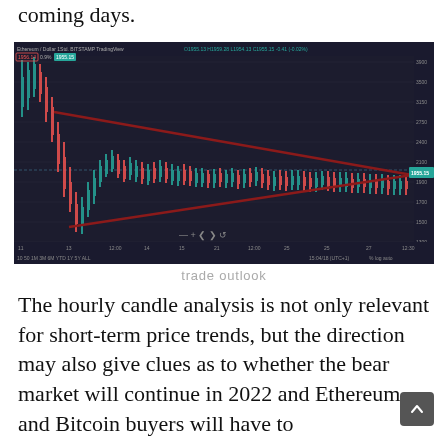coming days.
[Figure (continuous-plot): Ethereum/Dollar 1-hour candlestick chart from BITSTAMP on TradingView showing a descending triangle or symmetrical triangle pattern drawn with dark red trendlines. Price ranges roughly from 1650 to 3500. Two converging trendlines form a triangle, with the upper resistance line sloping downward from around 3200 and the lower support line sloping upward from around 1650, converging near the right edge around 1955. Current price label shows 1955.15. Chart shows dates from 11 to 27 and times.]
trade outlook
The hourly candle analysis is not only relevant for short-term price trends, but the direction may also give clues as to whether the bear market will continue in 2022 and Ethereum and Bitcoin buyers will have to